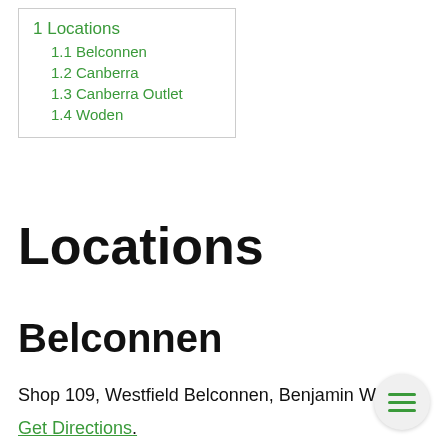1 Locations
1.1 Belconnen
1.2 Canberra
1.3 Canberra Outlet
1.4 Woden
Locations
Belconnen
Shop 109, Westfield Belconnen, Benjamin Way
Get Directions.